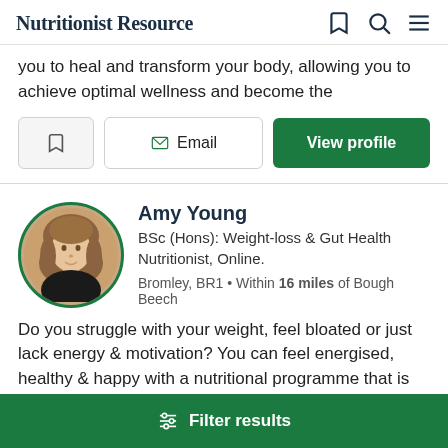Nutritionist Resource
you to heal and transform your body, allowing you to achieve optimal wellness and become the
Email | View profile
Amy Young
BSc (Hons): Weight-loss & Gut Health Nutritionist, Online.
Bromley, BR1 • Within 16 miles of Bough Beech
Do you struggle with your weight, feel bloated or just lack energy & motivation? You can feel energised, healthy & happy with a nutritional programme that is tailored for you.
Filter results